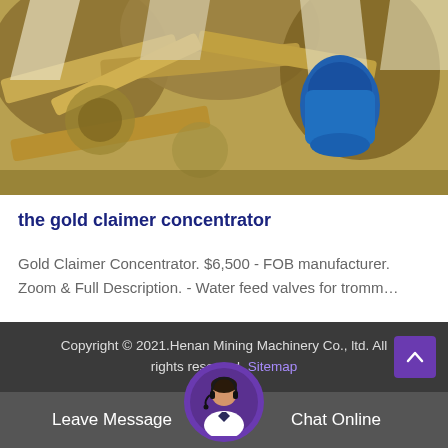[Figure (photo): Industrial machinery photo showing large metal gears/buckets with a blue hydraulic motor component, gold/yellow tones]
the gold claimer concentrator
Gold Claimer Concentrator. $6,500 - FOB manufacturer. Zoom & Full Description. - Water feed valves for tromm…
Copyright © 2021.Henan Mining Machinery Co., ltd. All rights reserved. Sitemap
Leave Message
Chat Online